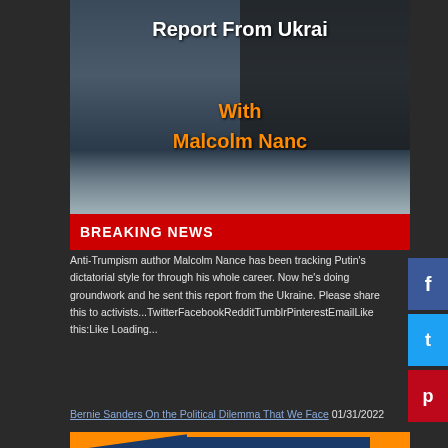[Figure (screenshot): Screenshot of a news article page showing 'Report From Ukraine With Malcolm Nance' with a BREAKING NEWS banner, dark background with snowy imagery. Below is article text about Malcolm Nance tracking Putin's dictatorial style, a Bernie Sanders article link, and 'Vote Like Democracy Depends On It' campaign image. Social sharing buttons for Facebook, Twitter and Pinterest visible on the right.]
Anti-Trumpism author Malcolm Nance has been tracking Putin's dictatorial style for through his whole career. Now he's doing groundwork and he sent this report from the Ukraine. Please share this to activists...TwitterFacebookRedditTumblrPinterestEmailLike this:Like Loading...
Bernie Sanders On the Political Dilemma That We Face 01/31/2022